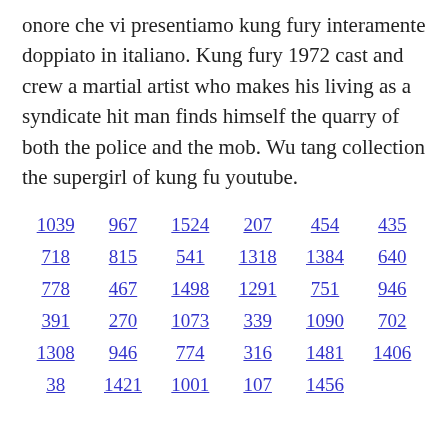onore che vi presentiamo kung fury interamente doppiato in italiano. Kung fury 1972 cast and crew a martial artist who makes his living as a syndicate hit man finds himself the quarry of both the police and the mob. Wu tang collection the supergirl of kung fu youtube.
1039 967 1524 207 454 435 718 815 541 1318 1384 640 778 467 1498 1291 751 946 391 270 1073 339 1090 702 1308 946 774 316 1481 1406 38 1421 1001 107 1456